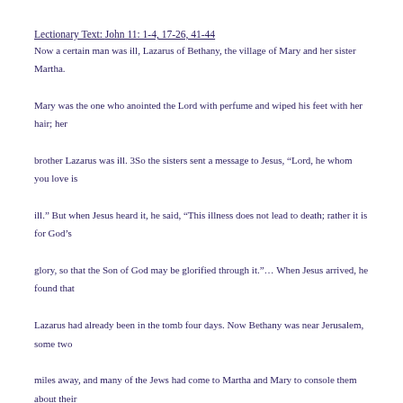Lectionary Text: John 11: 1-4, 17-26, 41-44
Now a certain man was ill, Lazarus of Bethany, the village of Mary and her sister Martha. Mary was the one who anointed the Lord with perfume and wiped his feet with her hair; her brother Lazarus was ill. 3So the sisters sent a message to Jesus, "Lord, he whom you love is ill." But when Jesus heard it, he said, "This illness does not lead to death; rather it is for God's glory, so that the Son of God may be glorified through it."... When Jesus arrived, he found that Lazarus had already been in the tomb four days. Now Bethany was near Jerusalem, some two miles away, and many of the Jews had come to Martha and Mary to console them about their brother. When Martha heard that Jesus was coming, she went and met him, while Mary stayed at home. Martha said to Jesus, "Lord, if you had been here, my brother would not have died. But even now I know that God will give you whatever you ask of him." Jesus said to her, "Your brother will rise again."... Martha said to him, "I know that he will rise again in the resurrection on the last day." Jesus said to her, "I am the resurrection and the life. Those who believe in me, even though they die, will live, and everyone who lives and believes in me will never die. Do you believe this?"...So they took away the stone. And Jesus looked upward and said, "Father, I thank you for having heard me. I knew that you always hear me, but I